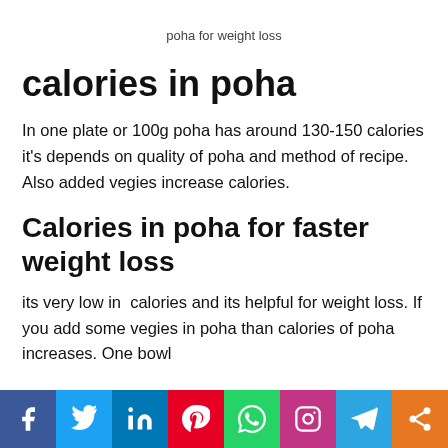poha for weight loss
calories in poha
In one plate or 100g poha has around 130-150 calories it's depends on quality of poha and method of recipe. Also added vegies increase calories.
Calories in poha for faster weight loss
its very low in  calories and its helpful for weight loss. If you add some vegies in poha than calories of poha increases. One bowl